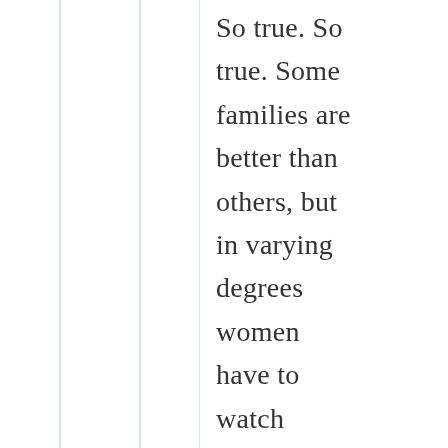So true. So true. Some families are better than others, but in varying degrees women have to watch themselves. Whatever they do can be